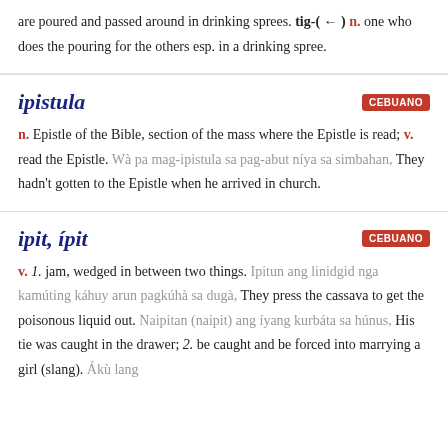are poured and passed around in drinking sprees. tig-(←) n. one who does the pouring for the others esp. in a drinking spree.
ipistula
n. Epistle of the Bible, section of the mass where the Epistle is read; v. read the Epistle. Wà pa mag-ipistula sa pag-abut níya sa simbahan, They hadn't gotten to the Epistle when he arrived in church.
ipit, ípit
v. 1. jam, wedged in between two things. Ipitun ang linidgid nga kamúting káhuy arun pagkúhà sa dugà, They press the cassava to get the poisonous liquid out. Naipitan (naipit) ang íyang kurbáta sa húnus, His tie was caught in the drawer; 2. be caught and be forced into marrying a girl (slang). Ákù lang